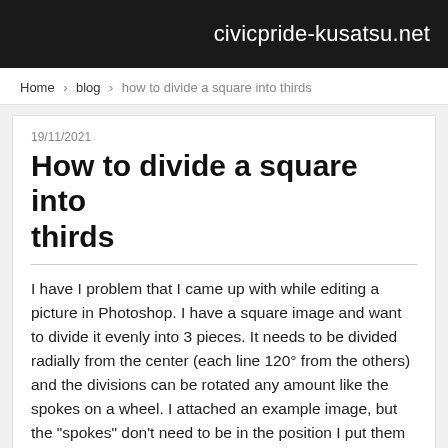civicpride-kusatsu.net
Home › blog › how to divide a square into thirds
19/11/2021
How to divide a square into thirds
I have I problem that I came up with while editing a picture in Photoshop. I have a square image and want to divide it evenly into 3 pieces. It needs to be divided radially from the center (each line 120° from the others) and the divisions can be rotated any amount like the spokes on a wheel. I attached an example image, but the "spokes" don't need to be in the position I put them in. I have a few questions that